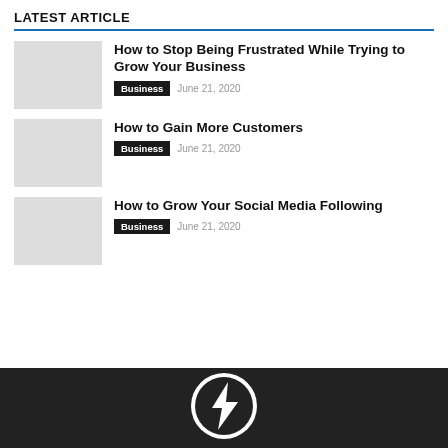LATEST ARTICLE
How to Stop Being Frustrated While Trying to Grow Your Business | Business | June 21, 2020
How to Gain More Customers | Business | June 21, 2020
How to Grow Your Social Media Following | Business | June 21, 2020
[Figure (logo): Website logo — dark circle with lightning bolt / arrow graphic, black and white]